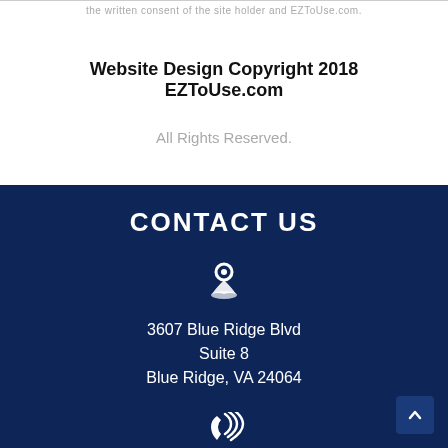the written consent of the site holder and EZToUse.com.
Website Design Copyright 2018 EZToUse.com
All Rights Reserved.
CONTACT US
[Figure (illustration): Map pin / location icon in white]
3607 Blue Ridge Blvd
Suite 8
Blue Ridge, VA 24064
[Figure (illustration): Phone with signal waves icon in white (partially visible at bottom)]